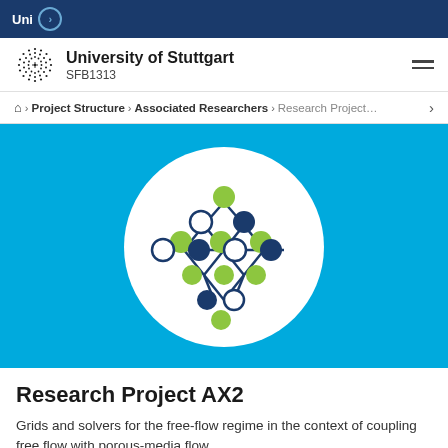Uni
[Figure (logo): University of Stuttgart SFB1313 logo with dotted circular logo mark]
University of Stuttgart
SFB1313
Home › Project Structure › Associated Researchers › Research Project... ›
[Figure (illustration): White circle on cyan/blue background containing a network graph diagram with dark blue filled circles, white outlined circles, and yellow-green filled circles connected by dark blue lines forming a downward-pointing diamond/tree pattern]
Research Project AX2
Grids and solvers for the free-flow regime in the context of coupling free flow with porous-media flow.